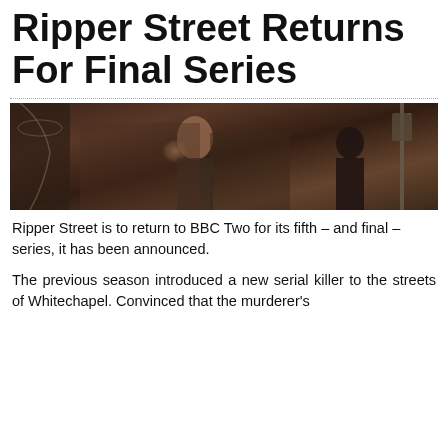Ripper Street Returns For Final Series
[Figure (photo): Promotional still from Ripper Street showing a male character in period costume against a Victorian street backdrop with a gas lamp visible on the right]
Ripper Street is to return to BBC Two for its fifth – and final – series, it has been announced.
The previous season introduced a new serial killer to the streets of Whitechapel. Convinced that the murderer's